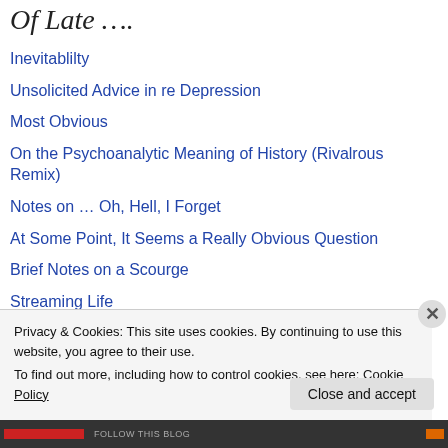Of Late ….
Inevitablilty
Unsolicited Advice in re Depression
Most Obvious
On the Psychoanalytic Meaning of History (Rivalrous Remix)
Notes on … Oh, Hell, I Forget
At Some Point, It Seems a Really Obvious Question
Brief Notes on a Scourge
Streaming Life
Apropos of Howard
Privacy & Cookies: This site uses cookies. By continuing to use this website, you agree to their use.
To find out more, including how to control cookies, see here: Cookie Policy
Close and accept